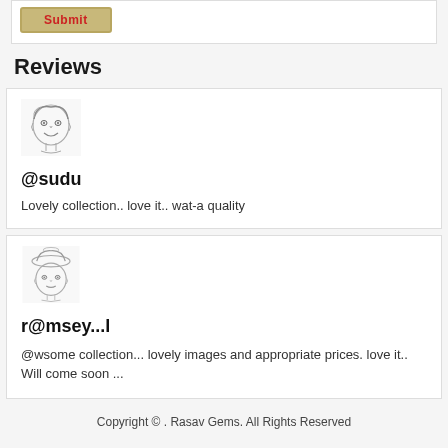[Figure (other): Submit button with gold/tan background and red text]
Reviews
[Figure (illustration): Sketch portrait of a child smiling, black and white pencil drawing]
@sudu
Lovely collection.. love it.. wat-a quality
[Figure (illustration): Sketch portrait of a person wearing a hat, black and white pencil drawing]
r@msey...l
@wsome collection... lovely images and appropriate prices. love it.. Will come soon ...
Copyright © . Rasav Gems. All Rights Reserved